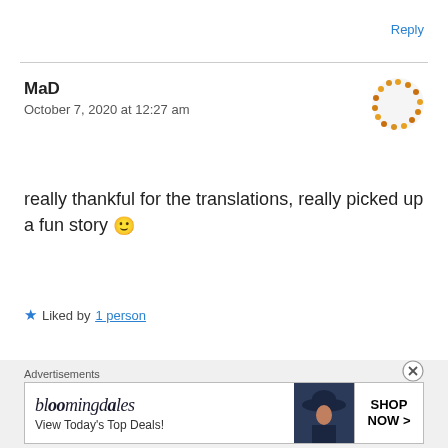Reply
MaD
October 7, 2020 at 12:27 am
really thankful for the translations, really picked up a fun story 🙂
★ Liked by 1 person
Reply
Advertisements
[Figure (other): Bloomingdale's advertisement banner showing brand name, 'View Today's Top Deals!' text, a woman in a wide-brim hat, and a 'SHOP NOW >' button]